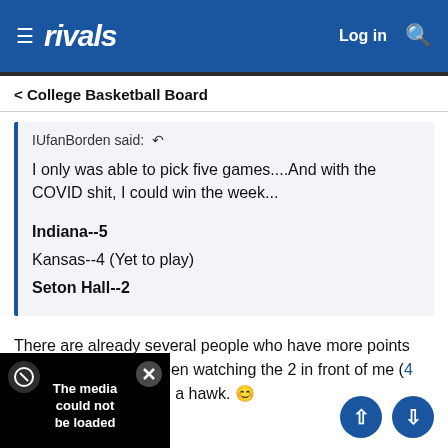rivals  Log in
< College Basketball Board
IUfanBorden said: ↩

I only was able to pick five games....And with the COVID shit, I could win the week...

Indiana--5
Kansas--4 (Yet to play)
Seton Hall--2
There are already several people who have more points than your max. I've been watching the 2 in front of me (4 and @dukedevilz) like a hawk. 😊
nd lurkeraspect84
[Figure (screenshot): Media error overlay on dark background reading 'The media could not be loaded']